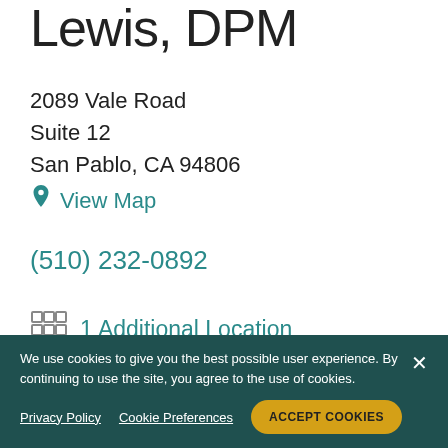Lewis, DPM
2089 Vale Road
Suite 12
San Pablo, CA 94806
View Map
(510) 232-0892
1 Additional Location
SPECIALTIES:
Podiatry
We use cookies to give you the best possible user experience. By continuing to use the site, you agree to the use of cookies.
Privacy Policy  Cookie Preferences  ACCEPT COOKIES